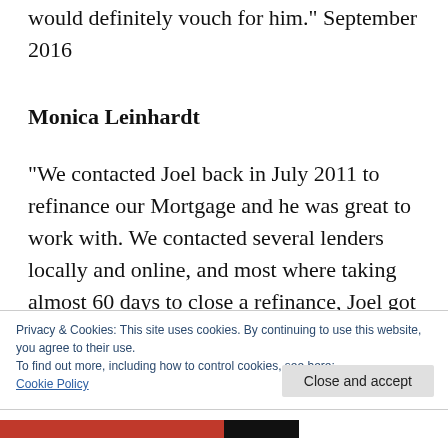would definitely vouch for him.” September 2016
Monica Leinhardt
“We contacted Joel back in July 2011 to refinance our Mortgage and he was great to work with. We contacted several lenders locally and online, and most where taking almost 60 days to close a refinance, Joel got it done in 23 days start to finish,I would definetly recommmend him. He got us 3.75% with just
Privacy & Cookies: This site uses cookies. By continuing to use this website, you agree to their use.
To find out more, including how to control cookies, see here: Cookie Policy